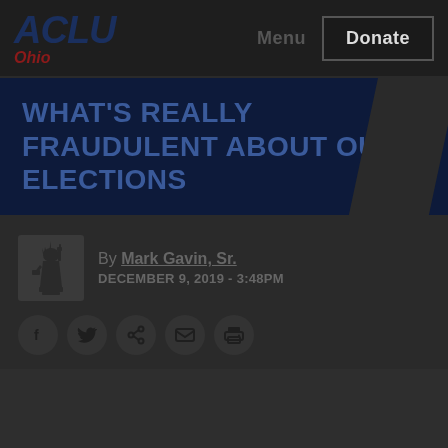ACLU Ohio | Menu | Donate
WHAT'S REALLY FRAUDULENT ABOUT OUR ELECTIONS
By Mark Gavin, Sr.
DECEMBER 9, 2019 - 3:48PM
[Figure (illustration): ACLU Statue of Liberty avatar icon for author Mark Gavin Sr.]
[Figure (infographic): Social sharing icons: Facebook, Twitter, Link/Share, Email, Print]